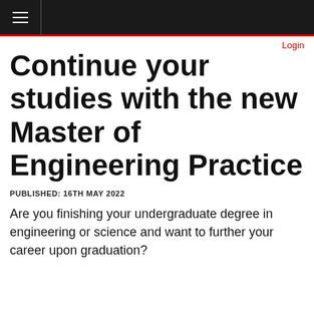Login
Continue your studies with the new Master of Engineering Practice
PUBLISHED: 16TH MAY 2022
Are you finishing your undergraduate degree in engineering or science and want to further your career upon graduation?